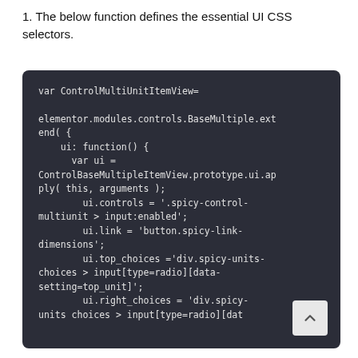1. The below function defines the essential UI CSS selectors.
[Figure (screenshot): Dark-themed code block showing JavaScript code: var ControlMultiUnitItemView= elementor.modules.controls.BaseMultiple.extend({ ui: function() { var ui = ControlBaseMultipleItemView.prototype.ui.apply( this, arguments ); ui.controls = '.spicy-control-multiunit > input:enabled'; ui.link = 'button.spicy-link-dimensions'; ui.top_choices ='div.spicy-units-choices > input[type=radio][data-setting=top_unit]'; ui.right_choices = 'div.spicy-units-choices > input[type=radio][data-...]